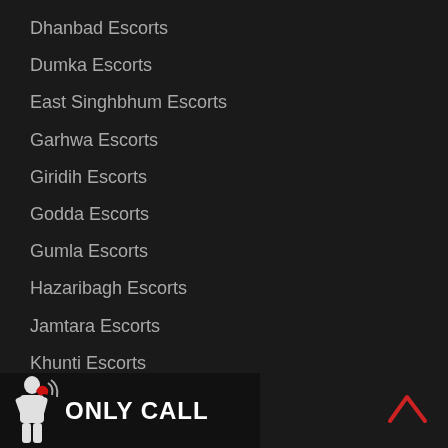Dhanbad Escorts
Dumka Escorts
East Singhbhum Escorts
Garhwa Escorts
Giridih Escorts
Godda Escorts
Gumla Escorts
Hazaribagh Escorts
Jamtara Escorts
Khunti Escorts
Koderma Escorts
Latehar Escorts
Lohardaga Escorts
[Figure (logo): ONLY CALL banner with figure icon of person holding phone, red phone graphic, and signal waves]